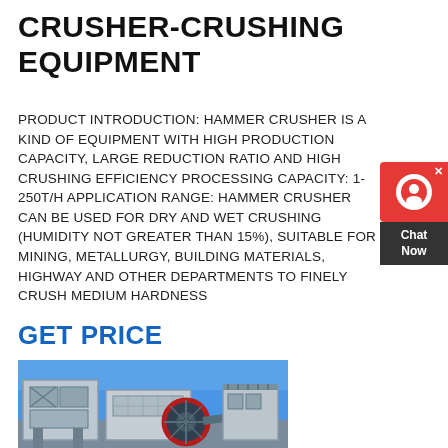CRUSHER-CRUSHING EQUIPMENT
PRODUCT INTRODUCTION: HAMMER CRUSHER IS A KIND OF EQUIPMENT WITH HIGH PRODUCTION CAPACITY, LARGE REDUCTION RATIO AND HIGH CRUSHING EFFICIENCY PROCESSING CAPACITY: 1-250T/H APPLICATION RANGE: HAMMER CRUSHER CAN BE USED FOR DRY AND WET CRUSHING (HUMIDITY NOT GREATER THAN 15%), SUITABLE FOR MINING, METALLURGY, BUILDING MATERIALS, HIGHWAY AND OTHER DEPARTMENTS TO FINELY CRUSH MEDIUM HARDNESS
GET PRICE
[Figure (photo): Industrial crushing equipment / hammer crusher machinery photographed outdoors against blue sky, showing large metal panels, conveyor structures, and circular crusher wheel components]